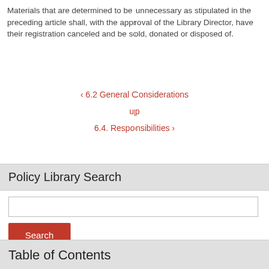Materials that are determined to be unnecessary as stipulated in the preceding article shall, with the approval of the Library Director, have their registration canceled and be sold, donated or disposed of.
‹ 6.2 General Considerations
up
6.4. Responsibilities ›
Policy Library Search
Table of Contents